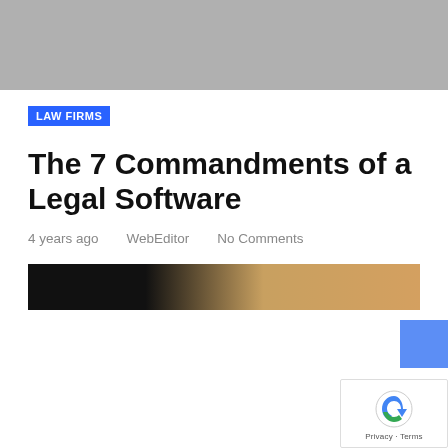[Figure (photo): Gray header image background]
LAW FIRMS
The 7 Commandments of a Legal Software
4 years ago   WebEditor   No Comments
[Figure (photo): Article header image showing dark background with warm-toned subject]